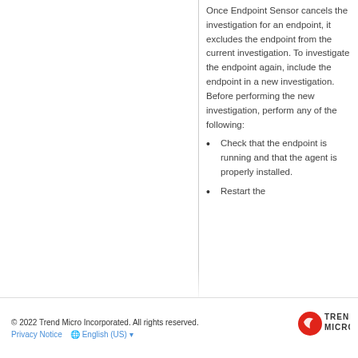Once Endpoint Sensor cancels the investigation for an endpoint, it excludes the endpoint from the current investigation. To investigate the endpoint again, include the endpoint in a new investigation. Before performing the new investigation, perform any of the following:
Check that the endpoint is running and that the agent is properly installed.
Restart the
© 2022 Trend Micro Incorporated. All rights reserved. | Privacy Notice | English (US)